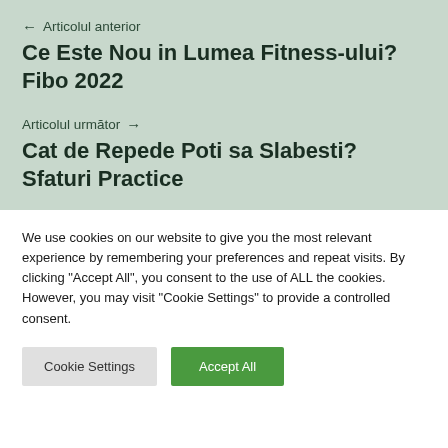← Articolul anterior
Ce Este Nou in Lumea Fitness-ului? Fibo 2022
Articolul următor →
Cat de Repede Poti sa Slabesti? Sfaturi Practice
We use cookies on our website to give you the most relevant experience by remembering your preferences and repeat visits. By clicking "Accept All", you consent to the use of ALL the cookies. However, you may visit "Cookie Settings" to provide a controlled consent.